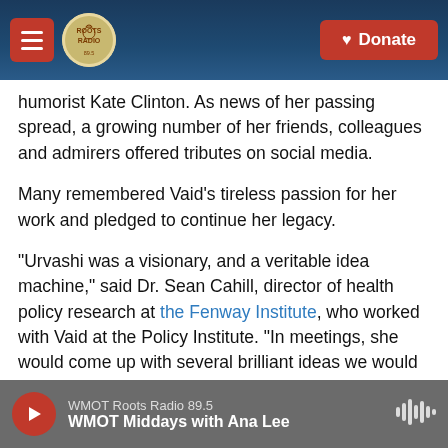[Figure (screenshot): Top navigation bar of a mobile website showing a red hamburger menu button, Roots Radio circular logo, and a red Donate button with heart icon, set against a dark blue background with a guitar image.]
humorist Kate Clinton. As news of her passing spread, a growing number of her friends, colleagues and admirers offered tributes on social media.
Many remembered Vaid's tireless passion for her work and pledged to continue her legacy.
"Urvashi was a visionary, and a veritable idea machine," said Dr. Sean Cahill, director of health policy research at the Fenway Institute, who worked with Vaid at the Policy Institute. "In meetings, she would come up with several brilliant ideas we would struggle to get them all down on
[Figure (screenshot): Mobile audio player bar at the bottom showing a red play button, WMOT Roots Radio 89.5 station name, WMOT Middays with Ana Lee show title, and a waveform icon, all on a gray background.]